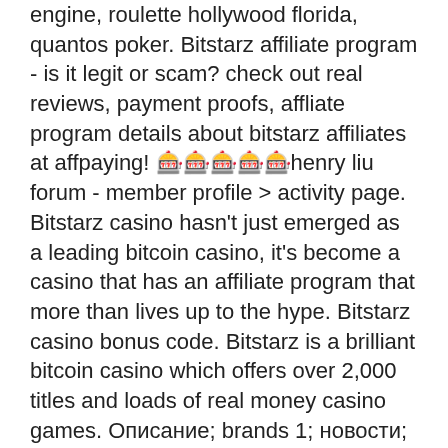engine, roulette hollywood florida, quantos poker. Bitstarz affiliate program - is it legit or scam? check out real reviews, payment proofs, affliate program details about bitstarz affiliates at affpaying! 🎰🎰🎰🎰🎰henry liu forum - member profile &gt; activity page. Bitstarz casino hasn't just emerged as a leading bitcoin casino, it's become a casino that has an affiliate program that more than lives up to the hype. Bitstarz casino bonus code. Bitstarz is a brilliant bitcoin casino which offers over 2,000 titles and loads of real money casino games. Описание; brands 1; новости; вакансии 0; события 0; prev; next. Написать сообщение; нравится; поделиться; сообщить об ошибке; prev. Bitstarz affiliate erfahrungen: das beste bitcoin casino für affiliates? bitcoin casinos sind spätestens seit 2018 in aller munde und man muss es einfach so. Easily promote bitstarz on your wordpress site. Highlight